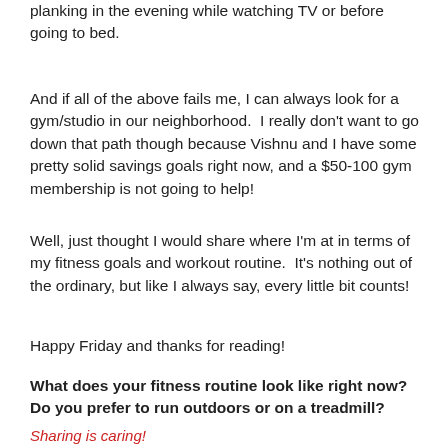planking in the evening while watching TV or before going to bed.
And if all of the above fails me, I can always look for a gym/studio in our neighborhood.  I really don't want to go down that path though because Vishnu and I have some pretty solid savings goals right now, and a $50-100 gym membership is not going to help!
Well, just thought I would share where I'm at in terms of my fitness goals and workout routine.  It's nothing out of the ordinary, but like I always say, every little bit counts!
Happy Friday and thanks for reading!
What does your fitness routine look like right now?  Do you prefer to run outdoors or on a treadmill?
Sharing is caring!